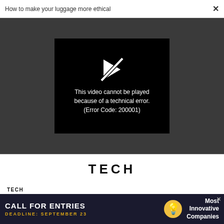How to make your luggage more ethical  ×
[Figure (screenshot): Video player error screen on dark grey background. Black rectangle in center shows a broken/slashed play button icon and text: 'This video cannot be played because of a technical error. (Error Code: 200001)']
TECH
TECH
Why Fauci's role as the face of science made him a
[Figure (infographic): Advertisement banner: 'CALL FOR ENTRIES' with deadline September 23, lightbulb icon, and 'Most Innovative Companies' text on dark navy background.]